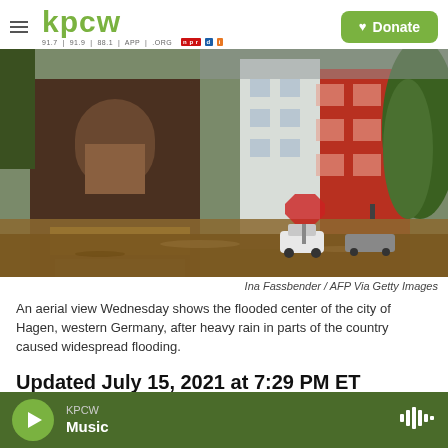kpcw — 91.7 | 91.9 | 88.1 | APP | .ORG — NPR — Donate
[Figure (photo): Aerial view of flooded streets in the city of Hagen, western Germany. Brown floodwater fills the streets around brick and red buildings. A small white car is visible in the water. Trees are visible on the right side.]
Ina Fassbender / AFP Via Getty Images
An aerial view Wednesday shows the flooded center of the city of Hagen, western Germany, after heavy rain in parts of the country caused widespread flooding.
Updated July 15, 2021 at 7:29 PM ET
KPCW Music